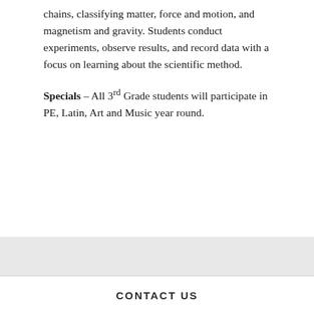chains, classifying matter, force and motion, and magnetism and gravity. Students conduct experiments, observe results, and record data with a focus on learning about the scientific method.
Specials – All 3rd Grade students will participate in PE, Latin, Art and Music year round.
CONTACT US